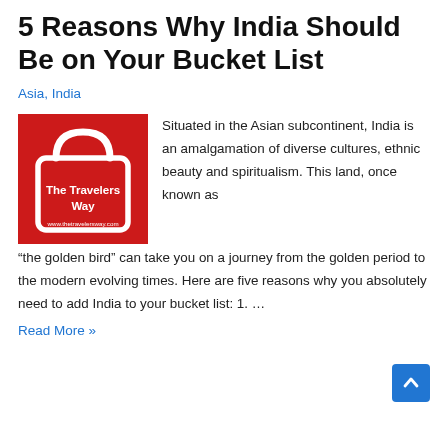5 Reasons Why India Should Be on Your Bucket List
Asia, India
[Figure (logo): The Travelers Way logo — red shopping bag on red background with white outline, text 'The Travelers Way' and 'www.thetravelersway.com']
Situated in the Asian subcontinent, India is an amalgamation of diverse cultures, ethnic beauty and spiritualism. This land, once known as “the golden bird” can take you on a journey from the golden period to the modern evolving times. Here are five reasons why you absolutely need to add India to your bucket list: 1. …
Read More »